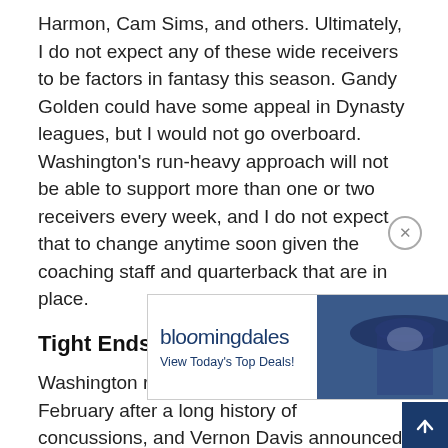Harmon, Cam Sims, and others. Ultimately, I do not expect any of these wide receivers to be factors in fantasy this season. Gandy Golden could have some appeal in Dynasty leagues, but I would not go overboard. Washington's run-heavy approach will not be able to support more than one or two receivers every week, and I do not expect that to change anytime soon given the coaching staff and quarterback that are in place.
Tight Ends
Washington released Jordan Reed back in February after a long history of concussions, and Vernon Davis announced his retirement following the 2019 season. The te... tha... Rodgers to replace the departed duo and inked roo...
[Figure (other): Bloomingdale's advertisement banner with woman in hat image and SHOP NOW button]